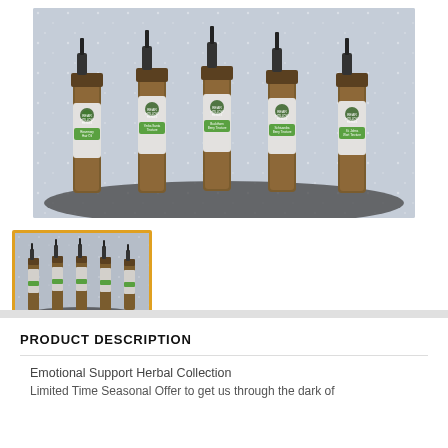[Figure (photo): Five Bear Hollow Herbs product bottles (tinctures and hair oil) with dropper caps arranged in a row on a dark surface with snowy/sparkly background. Labels include Rosemary Hair Oil, Yerba Santa Tincture, Buckthorn Berry Tincture, Schisandra Berry Tincture, St. Johns Wort Tincture.]
[Figure (photo): Thumbnail image of the same five Bear Hollow Herbs bottles, selected (highlighted with orange/gold border).]
PRODUCT DESCRIPTION
Emotional Support Herbal Collection
Limited Time Seasonal Offer to get us through the dark of